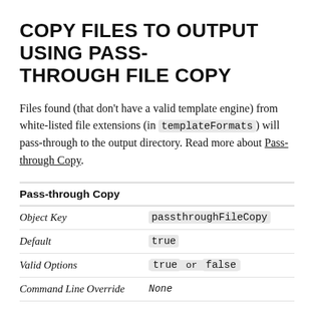COPY FILES TO OUTPUT USING PASS-THROUGH FILE COPY
Files found (that don't have a valid template engine) from white-listed file extensions (in templateFormats) will pass-through to the output directory. Read more about Pass-through Copy.
| Pass-through Copy |  |
| --- | --- |
| Object Key | passthroughFileCopy |
| Default | true |
| Valid Options | true or false |
| Command Line Override | None |